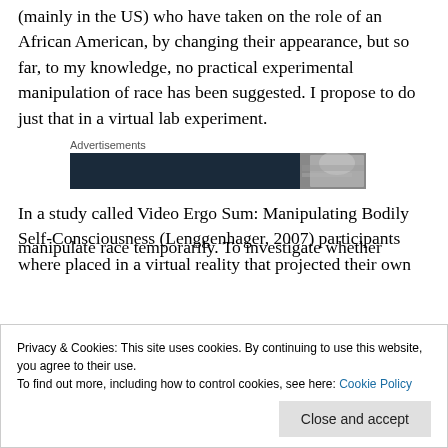(mainly in the US) who have taken on the role of an African American, by changing their appearance, but so far, to my knowledge, no practical experimental manipulation of race has been suggested. I propose to do just that in a virtual lab experiment.
[Figure (other): Advertisement banner with dark background showing a partial face image]
In a study called Video Ergo Sum: Manipulating Bodily Self-Consciousness (Lenggenhager, 2007) participants where placed in a virtual reality that projected their own
manipulate race temporarily. To investigate whether
Privacy & Cookies: This site uses cookies. By continuing to use this website, you agree to their use.
To find out more, including how to control cookies, see here: Cookie Policy